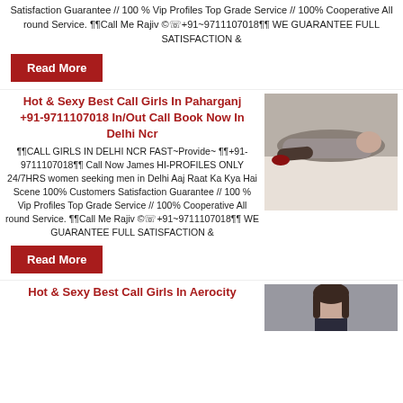Satisfaction Guarantee // 100 % Vip Profiles Top Grade Service // 100% Cooperative All round Service. ¶¶Call Me Rajiv ©☏+91~9711107018¶¶ WE GUARANTEE FULL SATISFACTION &
Read More
Hot & Sexy Best Call Girls In Paharganj +91-9711107018 In/Out Call Book Now In Delhi Ncr
¶¶CALL GIRLS IN DELHI NCR FAST~Provide~ ¶¶+91-9711107018¶¶ Call Now James HI-PROFILES ONLY 24/7HRS women seeking men in Delhi Aaj Raat Ka Kya Hai Scene 100% Customers Satisfaction Guarantee // 100 % Vip Profiles Top Grade Service // 100% Cooperative All round Service. ¶¶Call Me Rajiv ©☏+91~9711107018¶¶ WE GUARANTEE FULL SATISFACTION &
[Figure (photo): Photo of a woman lying on a white couch/sofa, wearing a grey top and dark pants with red shoes]
Read More
Hot & Sexy Best Call Girls In Aerocity
[Figure (photo): Photo of a young woman with dark hair]